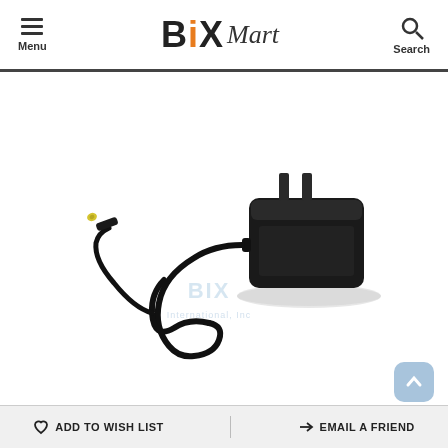BIXMart — Menu / Search navigation header
[Figure (photo): A black AC power adapter/charger with US two-prong plug on the right side and a thin wire ending in a small yellow-tipped DC barrel connector on the left. The cord is coiled in the middle. A watermark reading 'BIX International, Inc' is faintly visible in the center of the image.]
ADD TO WISH LIST   EMAIL A FRIEND